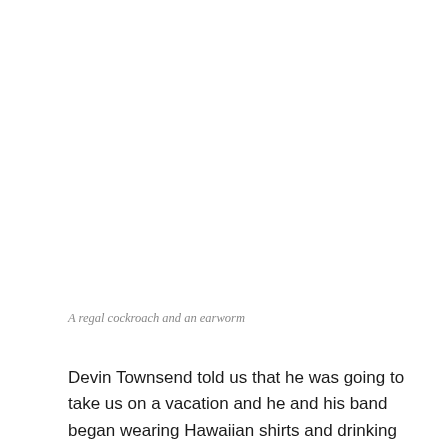A regal cockroach and an earworm
Devin Townsend told us that he was going to take us on a vacation and he and his band began wearing Hawaiian shirts and drinking cocktails. And he began with a jolly